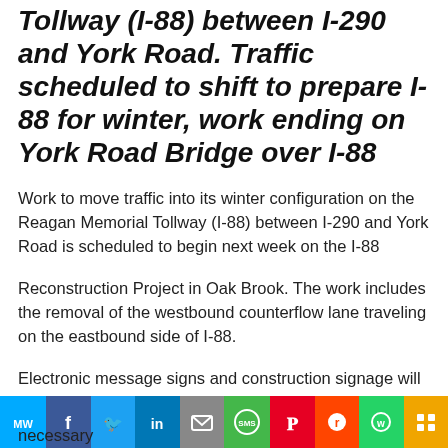Tollway (I-88) between I-290 and York Road. Traffic scheduled to shift to prepare I-88 for winter, work ending on York Road Bridge over I-88
Work to move traffic into its winter configuration on the Reagan Memorial Tollway (I-88) between I-290 and York Road is scheduled to begin next week on the I-88
Reconstruction Project in Oak Brook. The work includes the removal of the westbound counterflow lane traveling on the eastbound side of I-88.
Electronic message signs and construction signage will be put in place in advance to alert drivers to the traffic shift. Tem... necessary